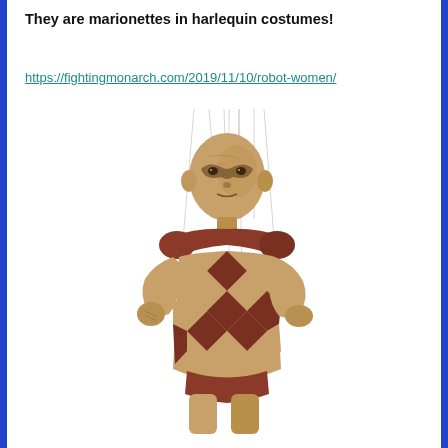They are marionettes in harlequin costumes!
https://fightingmonarch.com/2019/11/10/robot-women/
[Figure (photo): A wooden harlequin marionette puppet with a diamond-patterned costume in brown, dark red, and tan colors, wearing a small mask, suspended by strings against a white background.]